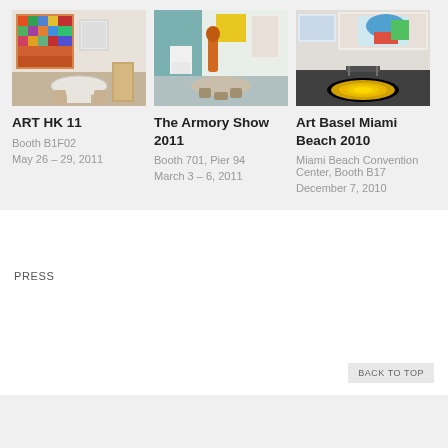[Figure (photo): Art gallery booth with colorful artwork on wall, round table, wooden chair]
ART HK 11
Booth B1F02
May 26 – 29, 2011
[Figure (photo): Art gallery booth with orange sculpture, round table, stools]
The Armory Show 2011
Booth 701, Pier 94
March 3 – 6, 2011
[Figure (photo): Art gallery with colorful artworks on wall, spiral floor installation]
Art Basel Miami Beach 2010
Miami Beach Convention Center, Booth B17
December 7, 2010
PRESS
BACK TO TOP